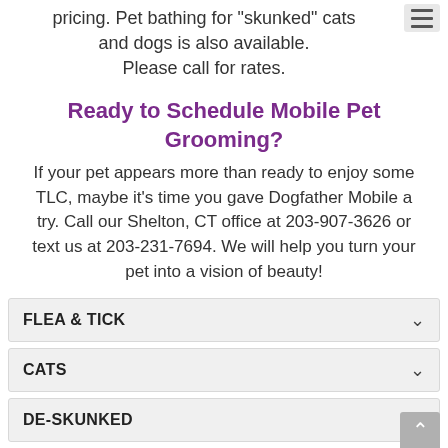pricing. Pet bathing for "skunked" cats and dogs is also available. Please call for rates.
Ready to Schedule Mobile Pet Grooming?
If your pet appears more than ready to enjoy some TLC, maybe it's time you gave Dogfather Mobile a try. Call our Shelton, CT office at 203-907-3626 or text us at 203-231-7694. We will help you turn your pet into a vision of beauty!
FLEA & TICK
CATS
DE-SKUNKED
DE-SHEDDING